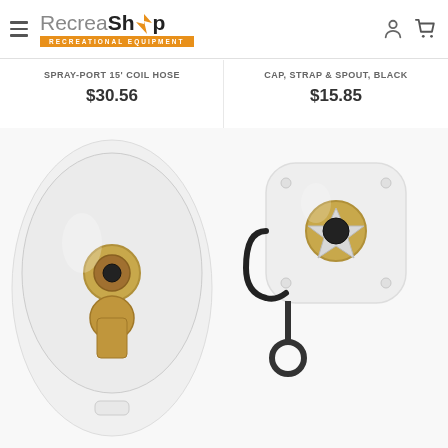RecreaShop - Recreational Equipment
SPRAY-PORT 15' COIL HOSE
$30.56
CAP, STRAP & SPOUT, BLACK
$15.85
[Figure (photo): White oval spray-port 15 foot coil hose fitting with brass connector]
[Figure (photo): White cap, strap and spout fitting with black strap loop]